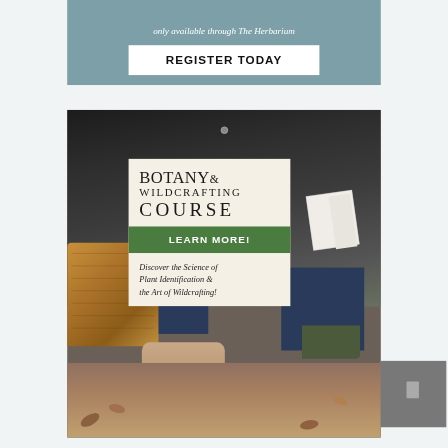only available through The Herbarium
REGISTER TODAY
[Figure (photo): Person sitting outdoors reading a book, with a wicker basket and green plants nearby, holding plant roots. Advertisement for Botany & Wildcrafting Course.]
BOTANY & WILDCRAFTING COURSE
LEARN MORE!
Discover the Science of Plant Identification & the Art of Wildcrafting!